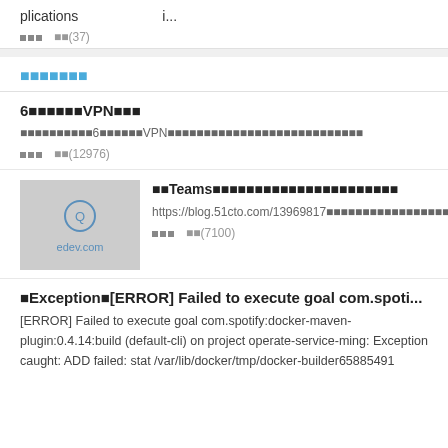plications             i...
■■■  ■■(37)
■■■■■■■
6■■■■■■VPN■■■
■■■■■■■■■■6■■■■■■VPN■■■■■■■■■■■■■■■■■■■■■■■■■■■
■■■  ■■(12976)
■■Teams■■■■■■■■■■■■■■■■■■■■■■
https://blog.51cto.com/13969817■■■■■■■■■■■■■■■■■■MicrosoftTeams■■■■■■■■MicrosoftStream■■■■■■■■■■■
■■■  ■■(7100)
■Exception■[ERROR] Failed to execute goal com.spoti...
[ERROR] Failed to execute goal com.spotify:docker-maven-plugin:0.4.14:build (default-cli) on project operate-service-ming: Exception caught: ADD failed: stat /var/lib/docker/tmp/docker-builder65885491